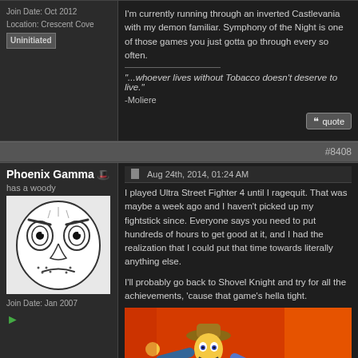Join Date: Oct 2012
Location: Crescent Cove
Uninitiated
I'm currently running through an inverted Castlevania with my demon familiar. Symphony of the Night is one of those games you just gotta go through every so often.
"...whoever lives without Tobacco doesn't deserve to live." -Moliere
#8408
Phoenix Gamma
has a woody
Join Date: Jan 2007
Aug 24th, 2014, 01:24 AM
I played Ultra Street Fighter 4 until I ragequit. That was maybe a week ago and I haven't picked up my fightstick since. Everyone says you need to put hundreds of hours to get good at it, and I had the realization that I could put that time towards literally anything else.

I'll probably go back to Shovel Knight and try for all the achievements, 'cause that game's hella tight.
[Figure (photo): Cartoon drawing of a distressed/shocked face (rage comic style), black and white]
[Figure (photo): Toy Story Woody action figure lying on red/orange background, smiling]